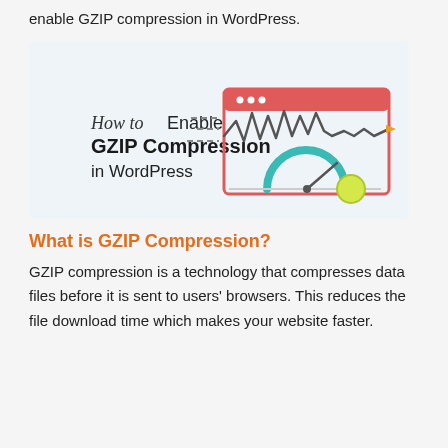enable GZIP compression in WordPress.
[Figure (illustration): Illustration showing 'How to Enable GZIP Compression in WordPress' with a browser window graphic showing a speed gauge and a waveform signal.]
What is GZIP Compression?
GZIP compression is a technology that compresses data files before it is sent to users' browsers. This reduces the file download time which makes your website faster.